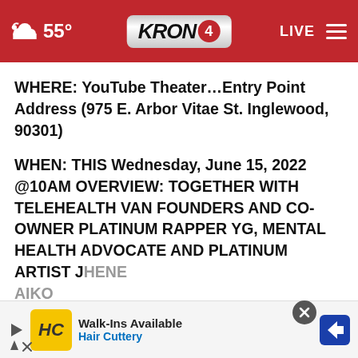55° KRON4 LIVE
WHERE: YouTube Theater…Entry Point Address (975 E. Arbor Vitae St. Inglewood, 90301)
WHEN: THIS Wednesday, June 15, 2022 @10AM OVERVIEW: TOGETHER WITH TELEHEALTH VAN FOUNDERS AND CO-OWNER PLATINUM RAPPER YG, MENTAL HEALTH ADVOCATE AND PLATINUM ARTIST JHENE AIKO CELEBRITIES, AND MENTAL HEALTH
[Figure (screenshot): Advertisement banner for Hair Cuttery: Walk-Ins Available with HC logo and navigation arrow icon]